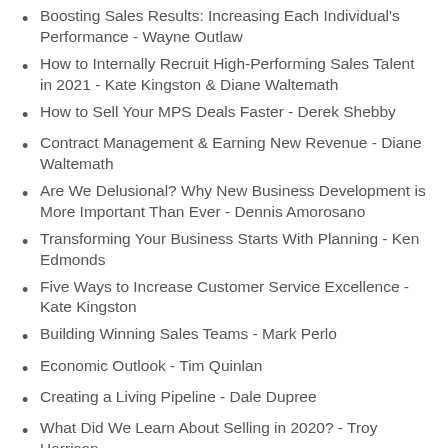Boosting Sales Results: Increasing Each Individual's Performance - Wayne Outlaw
How to Internally Recruit High-Performing Sales Talent in 2021 - Kate Kingston & Diane Waltemath
How to Sell Your MPS Deals Faster - Derek Shebby
Contract Management & Earning New Revenue - Diane Waltemath
Are We Delusional? Why New Business Development is More Important Than Ever - Dennis Amorosano
Transforming Your Business Starts With Planning - Ken Edmonds
Five Ways to Increase Customer Service Excellence - Kate Kingston
Building Winning Sales Teams - Mark Perlo
Economic Outlook - Tim Quinlan
Creating a Living Pipeline - Dale Dupree
What Did We Learn About Selling in 2020? - Troy Harrison
Creating Customer Service That Makes Your Customers Love You - Ken Edmonds